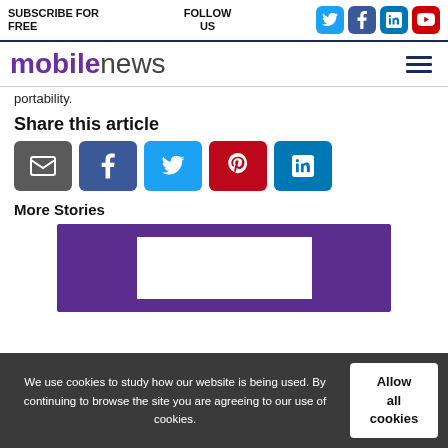SUBSCRIBE FOR FREE | FOLLOW US
mobilenews
portability.
Share this article
[Figure (infographic): Share buttons: email, Facebook, Twitter, Pinterest, LinkedIn]
More Stories
[Figure (photo): Purple promotional banner with white rectangle in center]
We use cookies to study how our website is being used. By continuing to browse the site you are agreeing to our use of cookies.